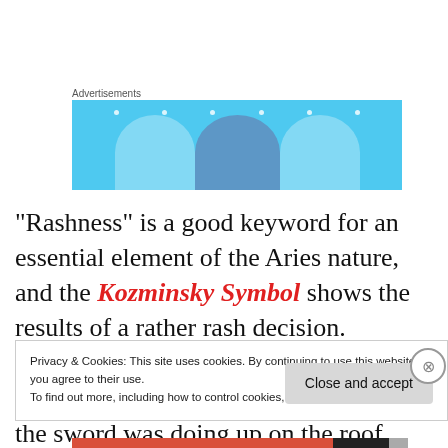Advertisements
[Figure (illustration): Blue advertisement banner with three circular figures (people with rounded heads) and white dot decorations on a light blue background.]
“Rashness” is a good keyword for an essential element of the Aries nature, and the Kozminsky Symbol shows the results of a rather rash decision. Kozminsky doesn’t give many details, but we do wonder what the man with the sword was doing up on the roof diving through that glass
Privacy & Cookies: This site uses cookies. By continuing to use this website, you agree to their use.
To find out more, including how to control cookies, see here: Cookie Policy
Close and accept